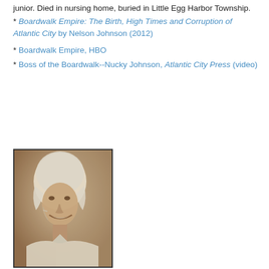junior. Died in nursing home, buried in Little Egg Harbor Township.
* Boardwalk Empire: The Birth, High Times and Corruption of Atlantic City by Nelson Johnson (2012)
* Boardwalk Empire, HBO
* Boss of the Boardwalk--Nucky Johnson, Atlantic City Press (video)
[Figure (photo): Sepia-toned vintage photograph of a young woman wearing a white swimming cap or bonnet, smiling, wearing a white collared shirt, photographed outdoors.]